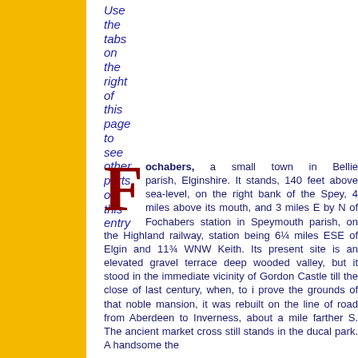Use the tabs on the right of this page to see other parts of this entry
Fochabers, a small town in Bellie parish, Elginshire. It stands, 140 feet above sea-level, on the right bank of the Spey, 4 miles above its mouth, and 3 miles E by N of Fochabers station in Speymouth parish, on the Highland railway, station being 6¼ miles ESE of Elgin and 11¾ WNW of Keith. Its present site is an elevated gravel terrace in a deep wooded valley, but it stood in the immediate vicinity of Gordon Castle till the close of last century, when, to i prove the grounds of that noble mansion, it was rebuilt on the line of road from Aberdeen to Inverness, about a mile farther S. The ancient market cross still stands in the ducal park. A handsome the...